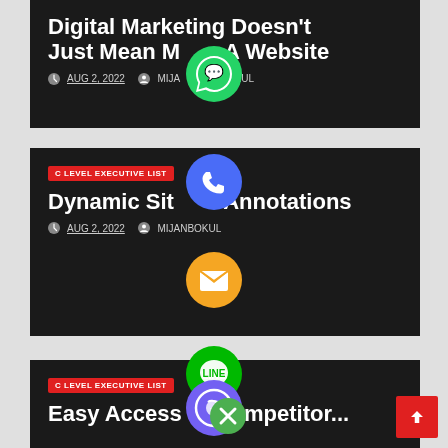Digital Marketing Doesn't Just Mean Making A Website
AUG 2, 2022  MIJANBOKUL
[Figure (infographic): Social sharing icons overlay: WhatsApp (green), Phone (blue), Email (orange), LINE (green), Viber (purple), close (green)]
C LEVEL EXECUTIVE LIST
Dynamic Site Annotations
AUG 2, 2022  MIJANBOKUL
C LEVEL EXECUTIVE LIST
Easy Access to Competitor...